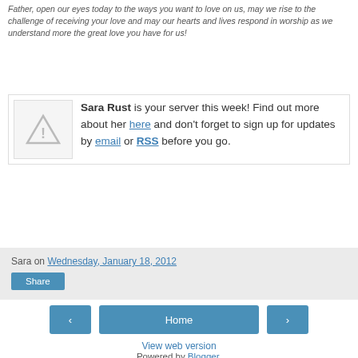Father, open our eyes today to the ways you want to love on us, may we rise to the challenge of receiving your love and may our hearts and lives respond in worship as we understand more the great love you have for us!
[Figure (other): Small alert/warning icon (triangle with exclamation) used as a server profile placeholder image]
Sara Rust is your server this week! Find out more about her here and don't forget to sign up for updates by email or RSS before you go.
Sara on Wednesday, January 18, 2012
Share
Home
View web version
Powered by Blogger.